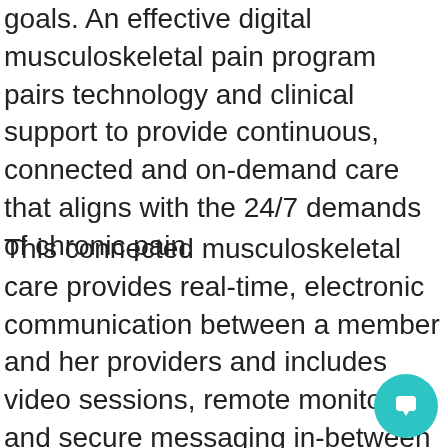goals. An effective digital musculoskeletal pain program pairs technology and clinical support to provide continuous, connected and on-demand care that aligns with the 24/7 demands of chronic pain.
This connected musculoskeletal care provides real-time, electronic communication between a member and her providers and includes video sessions, remote monitoring, and secure messaging in-between sessions. Connected musculoskeletal care improves access, helps members avoid costly injections and surgeries,